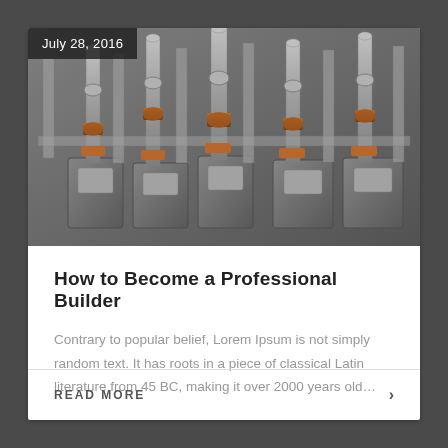[Figure (photo): Close-up photograph of industrial gas meters and pipes with valves, fittings, and copper/bronze connectors arranged in rows]
July 28, 2016
How to Become a Professional Builder
Contrary to popular belief, Lorem Ipsum is not simply random text. It has roots in a piece of classical Latin literature from 45 BC, making it over 2000 years old…
READ MORE